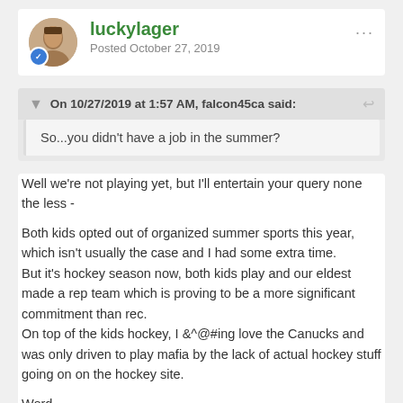luckylager
Posted October 27, 2019
On 10/27/2019 at 1:57 AM, falcon45ca said:
So...you didn't have a job in the summer?
Well we're not playing yet, but I'll entertain your query none the less -
Both kids opted out of organized summer sports this year, which isn't usually the case and I had some extra time.
But it's hockey season now, both kids play and our eldest made a rep team which is proving to be a more significant commitment than rec.
On top of the kids hockey, I &^@#ing love the Canucks and was only driven to play mafia by the lack of actual hockey stuff going on on the hockey site.
Word